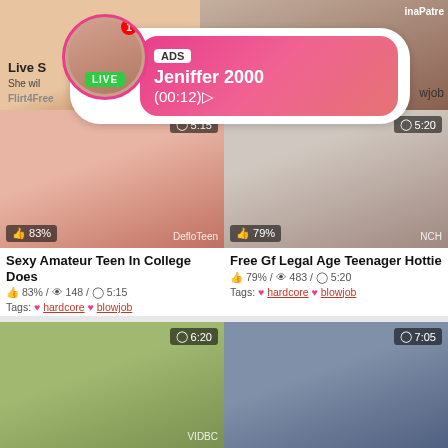[Figure (screenshot): Adult video website screenshot showing thumbnail grid with overlay ad banner for live cam show 'Jeniffer 2000']
Live S
She wil
Flirt4Free
ADS
Jeniffer 2000
(00:12)
LIVE
Sexy Amateur Teen In College Does
83% / 148 / 5:15
Tags: hardcore blowjob
Free Gf Legal Age Teenager Hottie
79% / 483 / 5:20
Tags: hardcore blowjob